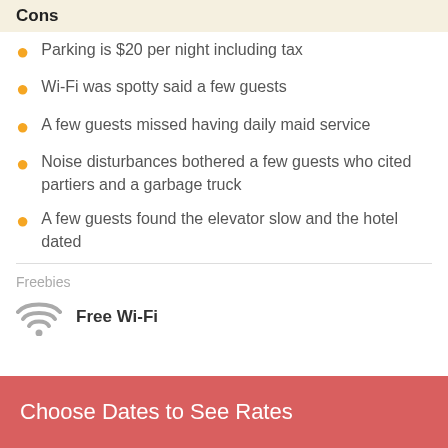Cons
Parking is $20 per night including tax
Wi-Fi was spotty said a few guests
A few guests missed having daily maid service
Noise disturbances bothered a few guests who cited partiers and a garbage truck
A few guests found the elevator slow and the hotel dated
Freebies
Free Wi-Fi
Choose Dates to See Rates